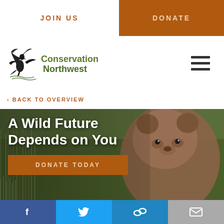JOIN US | DONATE
[Figure (logo): Conservation Northwest logo with eagle and text]
‹ BACK TO OVERVIEW
[Figure (photo): A grizzly bear cub in a grassy field with text overlay: A Wild Future Depends on You, and an orange DONATE TODAY button]
Social sharing icons: Facebook, Twitter, Link, Email